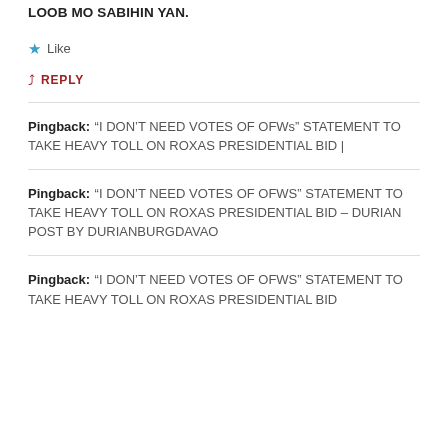LOOB MO SABIHIN YAN.
Like
REPLY
Pingback: “I DON’T NEED VOTES OF OFWs” STATEMENT TO TAKE HEAVY TOLL ON ROXAS PRESIDENTIAL BID |
Pingback: “I DON’T NEED VOTES OF OFWS” STATEMENT TO TAKE HEAVY TOLL ON ROXAS PRESIDENTIAL BID – DURIAN POST BY DURIANBURGDAVAO
Pingback: “I DON’T NEED VOTES OF OFWS” STATEMENT TO TAKE HEAVY TOLL ON ROXAS PRESIDENTIAL BID